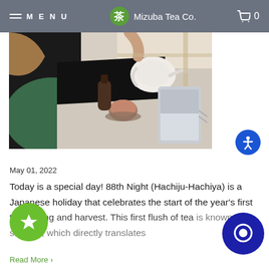MENU  Mizuba Tea Co.  0
[Figure (photo): Overhead view of a table with a white ceramic teapot, a small cup of orange/amber tea, a dark glass bottle, a silver/grey tea bag pouch, and dark green cushion fabric in the foreground. Shot from above in bright natural light.]
May 01, 2022
Today is a special day! 88th Night (Hachiju-Hachiya) is a Japanese holiday that celebrates the start of the year's first tea picking and harvest. This first flush of tea is known as shincha, which directly translates
Read More >